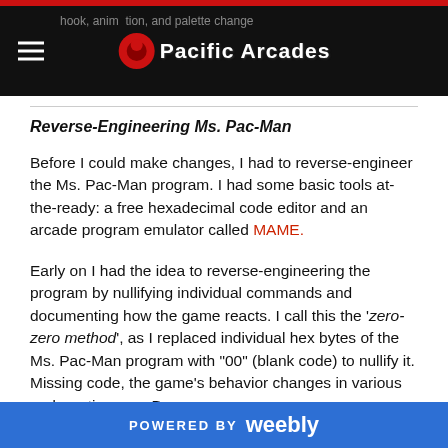Pacific Arcades
Reverse-Engineering Ms. Pac-Man
Before I could make changes, I had to reverse-engineer the Ms. Pac-Man program. I had some basic tools at-the-ready: a free hexadecimal code editor and an arcade program emulator called MAME.
Early on I had the idea to reverse-engineering the program by nullifying individual commands and documenting how the game reacts. I call this the 'zero-zero method', as I replaced individual hex bytes of the Ms. Pac-Man program with "00" (blank code) to nullify it. Missing code, the game's behavior changes in various and erratic ways. By
POWERED BY weebly